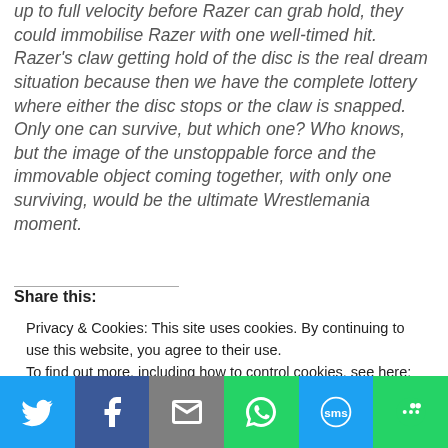up to full velocity before Razer can grab hold, they could immobilise Razer with one well-timed hit. Razer's claw getting hold of the disc is the real dream situation because then we have the complete lottery where either the disc stops or the claw is snapped. Only one can survive, but which one? Who knows, but the image of the unstoppable force and the immovable object coming together, with only one surviving, would be the ultimate Wrestlemania moment.
Share this:
Privacy & Cookies: This site uses cookies. By continuing to use this website, you agree to their use. To find out more, including how to control cookies, see here: Cookie Policy
[Figure (other): Social sharing buttons: Twitter, Facebook, Email, WhatsApp, SMS, More]